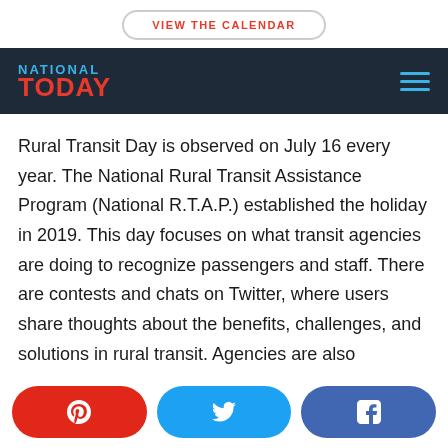VIEW THE CALENDAR
[Figure (logo): National Today logo on dark navy navigation bar with hamburger menu icon]
Rural Transit Day is observed on July 16 every year. The National Rural Transit Assistance Program (National R.T.A.P.) established the holiday in 2019. This day focuses on what transit agencies are doing to recognize passengers and staff. There are contests and chats on Twitter, where users share thoughts about the benefits, challenges, and solutions in rural transit. Agencies are also
[Figure (infographic): Three social share buttons at bottom: Pinterest (red), Twitter (light blue), Facebook (blue)]